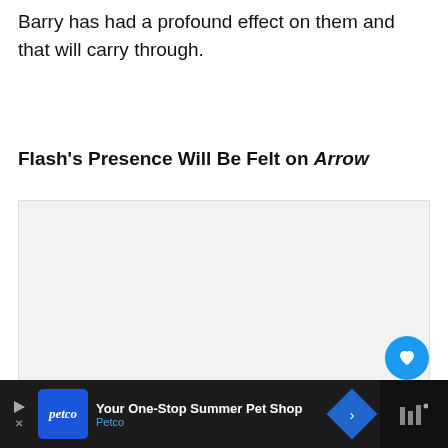Barry has had a profound effect on them and that will carry through.
Flash’s Presence Will Be Felt on Arrow
[Figure (screenshot): A media player / image carousel with gray background, three navigation dots at the bottom, a blue heart/like button showing count of 1, a share button, and a 'What's Next' panel showing a PID Zing Fri thumbnail with text 'The Cast and Characters ...']
[Figure (screenshot): Advertisement bar at the bottom: Petco 'Your One-Stop Summer Pet Shop' ad on dark background with blue Petco logo, navigation arrow, and a dark panel on the right with bar-chart icon.]